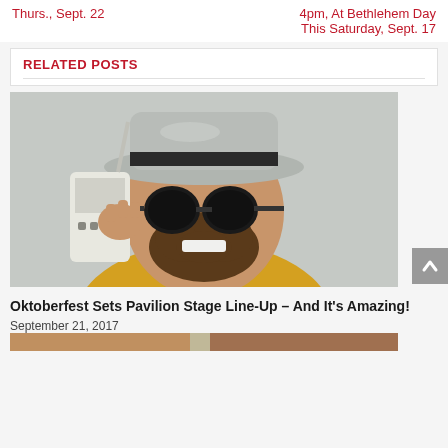Thurs., Sept. 22
4pm, At Bethlehem Day This Saturday, Sept. 17
RELATED POSTS
[Figure (photo): Man wearing a grey fedora hat and large round black sunglasses, holding a portable radio to his ear, smiling widely, wearing a yellow shirt, photographed against a grey background.]
Oktoberfest Sets Pavilion Stage Line-Up – And It's Amazing!
September 21, 2017
[Figure (photo): Bottom strip showing partial image of another related post.]